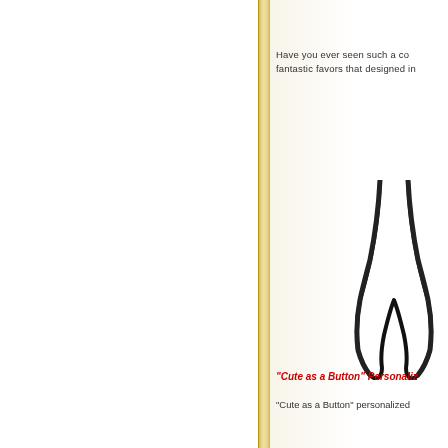Have you ever seen such a co fantastic favors that designed in
[Figure (illustration): A partial view of scissors or a V-shaped object in black, cropped at the right edge of the page]
“Cute as a Button” Personaliz
“Cute as a Button” personalized